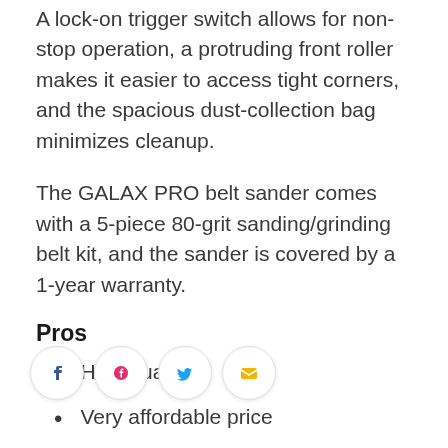A lock-on trigger switch allows for non-stop operation, a protruding front roller makes it easier to access tight corners, and the spacious dust-collection bag minimizes cleanup.
The GALAX PRO belt sander comes with a 5-piece 80-grit sanding/grinding belt kit, and the sander is covered by a 1-year warranty.
Pros
High quality
Very affordable price
Ideal for professional and DIY renovation use
Can be used for sanding floorboards or
decking, polishing metal surfaces